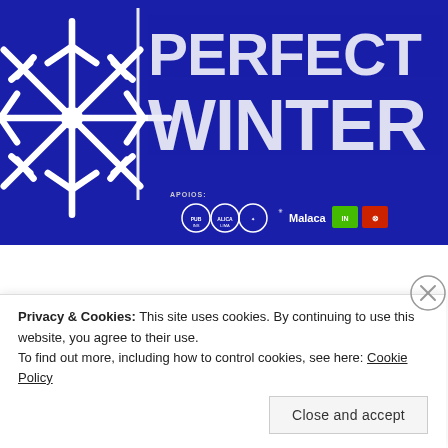[Figure (illustration): Dark blue promotional banner with large snowflake icon on the left and distressed white text reading 'PERFECT WINTER' on the right. Below are sponsor logos labeled 'APOIOS:' (including logos for Pub-Ins, Alica, a circular logo, Malaca, a green box, and a red/orange box) and 'MEDIA PARTNERS:' (including RUA 102.1 and Sui logos).]
Privacy & Cookies: This site uses cookies. By continuing to use this website, you agree to their use.
To find out more, including how to control cookies, see here: Cookie Policy
Close and accept